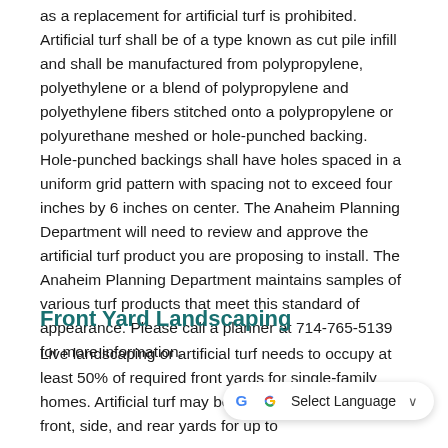as a replacement for artificial turf is prohibited. Artificial turf shall be of a type known as cut pile infill and shall be manufactured from polypropylene, polyethylene or a blend of polypropylene and polyethylene fibers stitched onto a polypropylene or polyurethane meshed or hole-punched backing. Hole-punched backings shall have holes spaced in a uniform grid pattern with spacing not to exceed four inches by 6 inches on center. The Anaheim Planning Department will need to review and approve the artificial turf product you are proposing to install. The Anaheim Planning Department maintains samples of various turf products that meet this standard of appearance. Please call a planner at 714-765-5139 for more information.
Front Yard Landscaping
Live landscaping or artificial turf needs to occupy at least 50% of required front yards for single-family homes. Artificial turf may be used in landscaping in front, side, and rear yards for up to